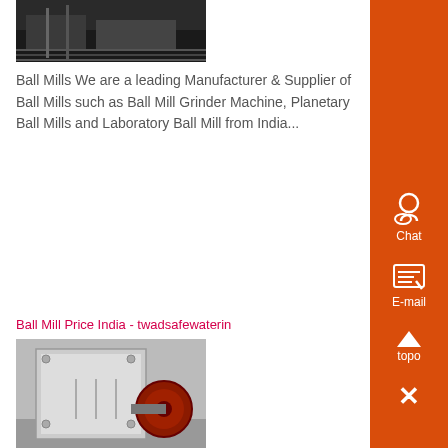[Figure (photo): Photo of industrial ball mill machine in a factory setting, dark/industrial lighting]
Ball Mills We are a leading Manufacturer & Supplier of Ball Mills such as Ball Mill Grinder Machine, Planetary Ball Mills and Laboratory Ball Mill from India...
Ball Mill Price India - twadsafewaterin
[Figure (photo): Photo of a large industrial crusher/ball mill machine in a warehouse, white/grey metal with red wheel]
Ball Mill Prices Wholesale, Ball Mill Suppliers - Alibaba Alibaba offers 20,328 ball mill prices products